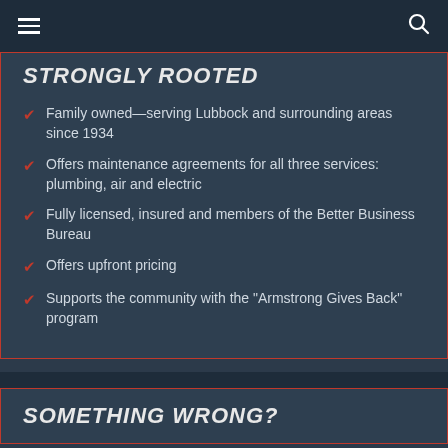☰  🔍
STRONGLY ROOTED
Family owned—serving Lubbock and surrounding areas since 1934
Offers maintenance agreements for all three services: plumbing, air and electric
Fully licensed, insured and members of the Better Business Bureau
Offers upfront pricing
Supports the community with the "Armstrong Gives Back" program
SOMETHING WRONG?